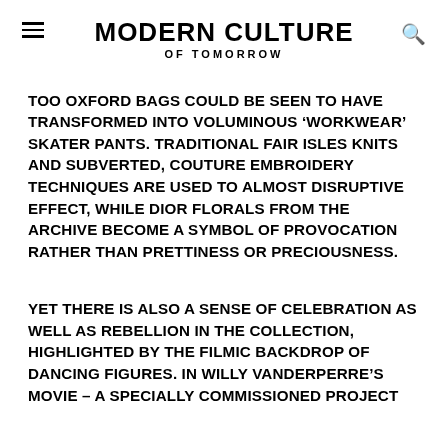MODERN CULTURE OF TOMORROW
TOO OXFORD BAGS COULD BE SEEN TO HAVE TRANSFORMED INTO VOLUMINOUS ‘WORKWEAR’ SKATER PANTS. TRADITIONAL FAIR ISLES KNITS AND SUBVERTED, COUTURE EMBROIDERY TECHNIQUES ARE USED TO ALMOST DISRUPTIVE EFFECT, WHILE DIOR FLORALS FROM THE ARCHIVE BECOME A SYMBOL OF PROVOCATION RATHER THAN PRETTINESS OR PRECIOUSNESS.
YET THERE IS ALSO A SENSE OF CELEBRATION AS WELL AS REBELLION IN THE COLLECTION, HIGHLIGHTED BY THE FILMIC BACKDROP OF DANCING FIGURES. IN WILLY VANDERPERRE’S MOVIE – A SPECIALLY COMMISSIONED PROJECT